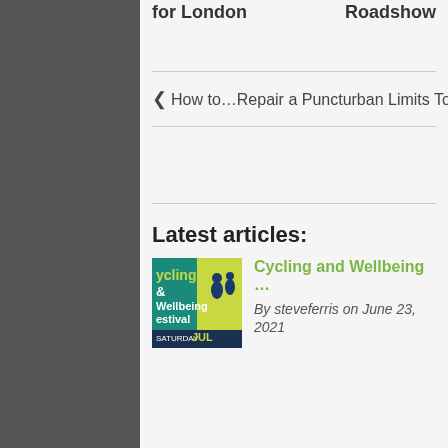for London   Roadshow
‹ How to…Repair a Puncture  Urban Limits Tour 201
Latest articles:
[Figure (illustration): Cycling and Wellbeing Festival poster with teal/yellow design]
Cycling and Wellbeing …
By steveferris on June 23, 2021